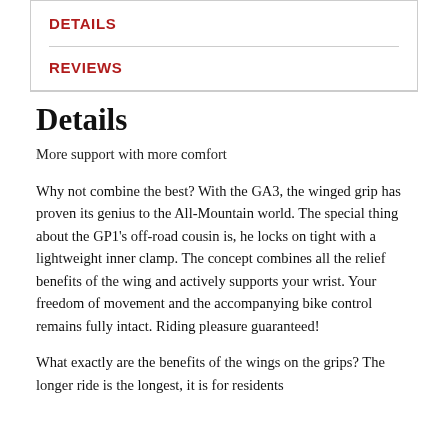DETAILS
REVIEWS
Details
More support with more comfort
Why not combine the best? With the GA3, the winged grip has proven its genius to the All-Mountain world. The special thing about the GP1's off-road cousin is, he locks on tight with a lightweight inner clamp. The concept combines all the relief benefits of the wing and actively supports your wrist. Your freedom of movement and the accompanying bike control remains fully intact. Riding pleasure guaranteed!
What exactly are the benefits of the wings on the grips? The longer ride is the longest, it is for residents...